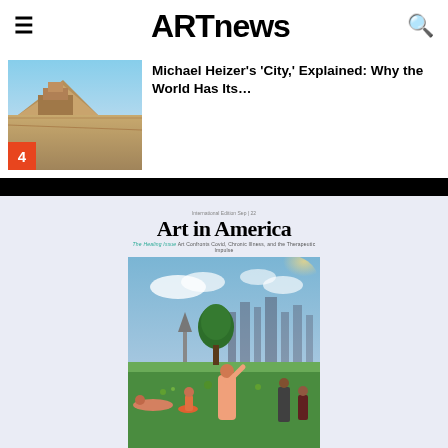ARTnews
Michael Heizer's 'City,' Explained: Why the World Has Its…
[Figure (photo): Aerial/perspective view of Michael Heizer's City sculpture in Nevada desert, with badge number 4]
[Figure (photo): Art in America magazine cover showing The Healing Issue: Art Confronts Covid, Chronic Illness, and the Therapeutic Impulse, with people in a park/outdoor setting]